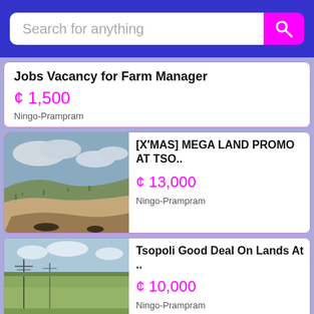Search for anything
Jobs Vacancy for Farm Manager
¢ 1,500
Ningo-Prampram
[Figure (photo): Photo of a land plot showing sandy ground and dry grass under a cloudy sky]
[X'MAS] MEGA LAND PROMO AT TSO..
¢ 13,000
Ningo-Prampram
[Figure (photo): Photo of a large open grass field with electric poles in the background]
Tsopoli Good Deal On Lands At ..
¢ 10,000
Ningo-Prampram